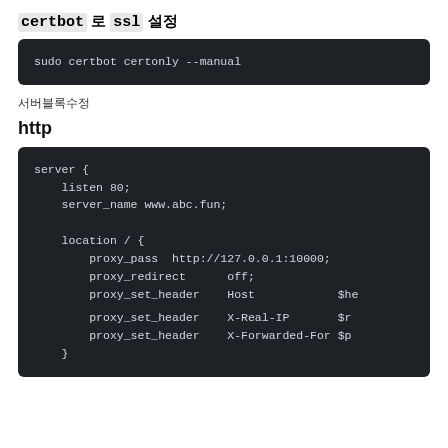certbot 로 ssl 설정
sudo certbot certonly --manual
서버블록수정
http
server {
    listen 80;
    server_name www.abc.fun;

    location / {
        proxy_pass  http://127.0.0.1:10000;
        proxy_redirect      off;
        proxy_set_header    Host                $ho
        proxy_set_header    X-Real-IP           $re
        proxy_set_header    X-Forwarded-For     $pr
    }